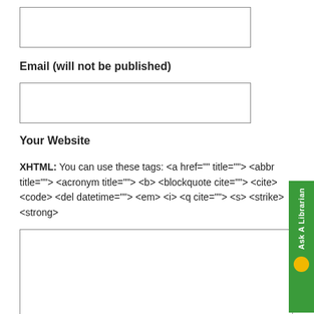(empty input box — top)
Email (will not be published)
(empty input box — email)
Your Website
XHTML: You can use these tags: <a href="" title=""> <abbr title=""> <acronym title=""> <b> <blockquote cite=""> <cite> <code> <del datetime=""> <em> <i> <q cite=""> <s> <strike> <strong>
(empty comment textarea)